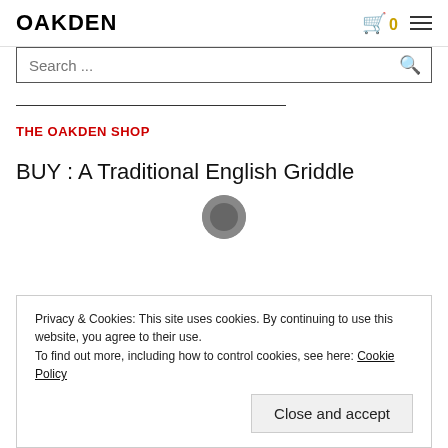OAKDEN
Search ...
THE OAKDEN SHOP
BUY : A Traditional English Griddle
Privacy & Cookies: This site uses cookies. By continuing to use this website, you agree to their use.
To find out more, including how to control cookies, see here: Cookie Policy
Close and accept